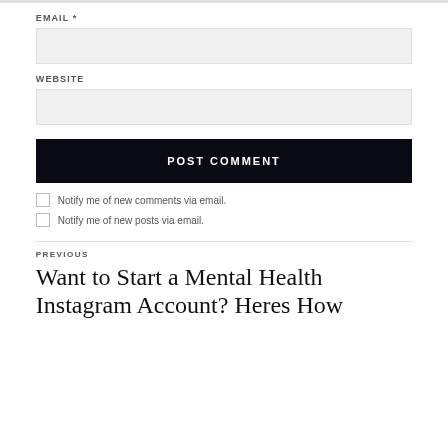EMAIL *
WEBSITE
POST COMMENT
Notify me of new comments via email.
Notify me of new posts via email.
PREVIOUS
Want to Start a Mental Health Instagram Account? Heres How